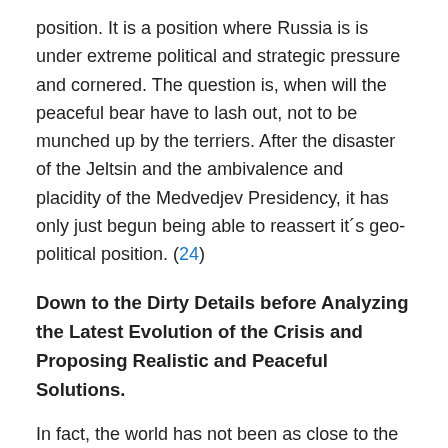position. It is a position where Russia is is under extreme political and strategic pressure and cornered. The question is, when will the peaceful bear have to lash out, not to be munched up by the terriers. After the disaster of the Jeltsin and the ambivalence and placidity of the Medvedjev Presidency, it has only just begun being able to reassert it´s geo-political position. (24)
Down to the Dirty Details before Analyzing the Latest Evolution of the Crisis and Proposing Realistic and Peaceful Solutions.
In fact, the world has not been as close to the onset of a high intensity stage of the ongoing World War III, including the risk of the use of thermo-nuclear weapons since the Cuban Missile Crisis. It is therefore, that it is absolutely necessary to have a critical look at the details. It is the